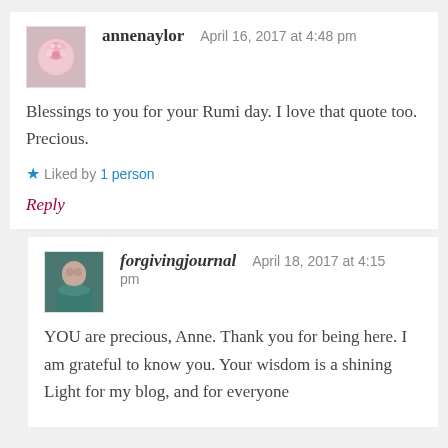annenaylor   April 16, 2017 at 4:48 pm
Blessings to you for your Rumi day. I love that quote too. Precious.
Liked by 1person
Reply
forgivingjournal   April 18, 2017 at 4:15 pm
YOU are precious, Anne. Thank you for being here. I am grateful to know you. Your wisdom is a shining Light for my blog, and for everyone